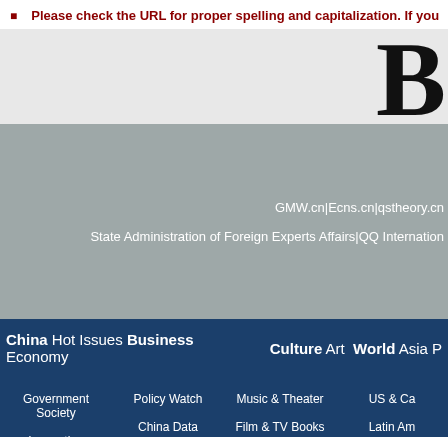Please check the URL for proper spelling and capitalization. If you...
[Figure (screenshot): Partial screenshot of a website showing gray banner with large letter B, a darker gray section with links including GMW.cn|Ecns.cn|qstheory.cn and State Administration of Foreign Experts Affairs|QQ International, and a dark navy blue navigation bar with categories: China Hot Issues Business Economy Culture Art World Asia P... and sub-navigation items: Government Society, Policy Watch, Music & Theater, US & Ca..., Innovation, China Data, Film & TV Books, Latin Am..., Education Companies Markets, Heritage, Europe A..., Cover Story People, Industries View, Events & Festivals, Middle...]